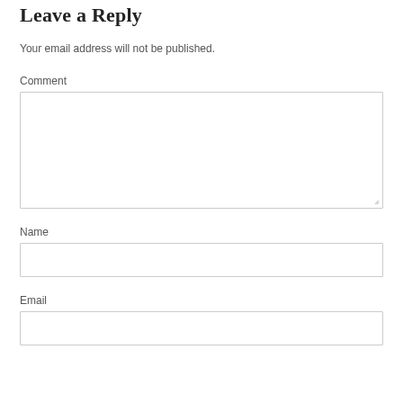Leave a Reply
Your email address will not be published.
Comment
Name
Email